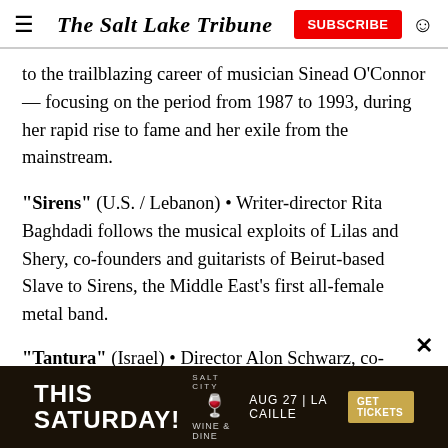The Salt Lake Tribune
to the trailblazing career of musician Sinead O'Connor — focusing on the period from 1987 to 1993, during her rapid rise to fame and her exile from the mainstream.
"Sirens" (U.S. / Lebanon) • Writer-director Rita Baghdadi follows the musical exploits of Lilas and Shery, co-founders and guitarists of Beirut-based Slave to Sirens, the Middle East's first all-female metal band.
"Tantura" (Israel) • Director Alon Schwarz, co-writing with Shaul Schwarz, examines one Palestinian village
[Figure (infographic): Advertisement banner for Salt City Wine & Dine event: THIS SATURDAY! AUG 27 | LA CAILLE GET TICKETS]